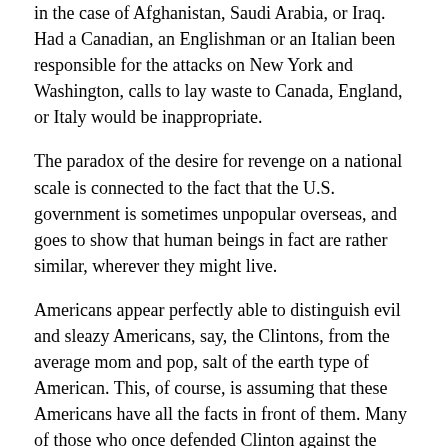in the case of Afghanistan, Saudi Arabia, or Iraq. Had a Canadian, an Englishman or an Italian been responsible for the attacks on New York and Washington, calls to lay waste to Canada, England, or Italy would be inappropriate.
The paradox of the desire for revenge on a national scale is connected to the fact that the U.S. government is sometimes unpopular overseas, and goes to show that human beings in fact are rather similar, wherever they might live.
Americans appear perfectly able to distinguish evil and sleazy Americans, say, the Clintons, from the average mom and pop, salt of the earth type of American. This, of course, is assuming that these Americans have all the facts in front of them. Many of those who once defended Clinton against the charge that he was a huckster, etc., came to realize the truth of the charge during the Monica Lewinsky affair, or rather the public aftermath of that sexual affair.